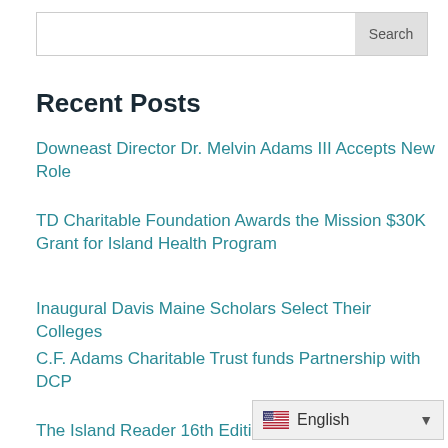Search
Recent Posts
Downeast Director Dr. Melvin Adams III Accepts New Role
TD Charitable Foundation Awards the Mission $30K Grant for Island Health Program
Inaugural Davis Maine Scholars Select Their Colleges
C.F. Adams Charitable Trust funds Partnership with DCP
The Island Reader 16th Editi…
English